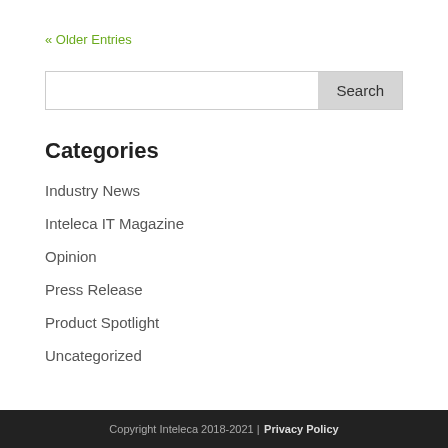« Older Entries
Search
Categories
Industry News
Inteleca IT Magazine
Opinion
Press Release
Product Spotlight
Uncategorized
Copyright Inteleca 2018-2021 | Privacy Policy